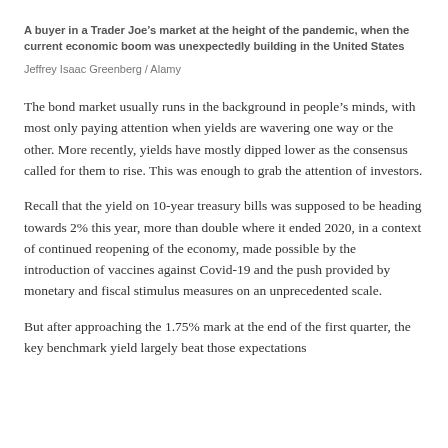A buyer in a Trader Joe's market at the height of the pandemic, when the current economic boom was unexpectedly building in the United States
Jeffrey Isaac Greenberg / Alamy
The bond market usually runs in the background in people's minds, with most only paying attention when yields are wavering one way or the other. More recently, yields have mostly dipped lower as the consensus called for them to rise. This was enough to grab the attention of investors.
Recall that the yield on 10-year treasury bills was supposed to be heading towards 2% this year, more than double where it ended 2020, in a context of continued reopening of the economy, made possible by the introduction of vaccines against Covid-19 and the push provided by monetary and fiscal stimulus measures on an unprecedented scale.
But after approaching the 1.75% mark at the end of the first quarter, the key benchmark yield largely beat those expectations